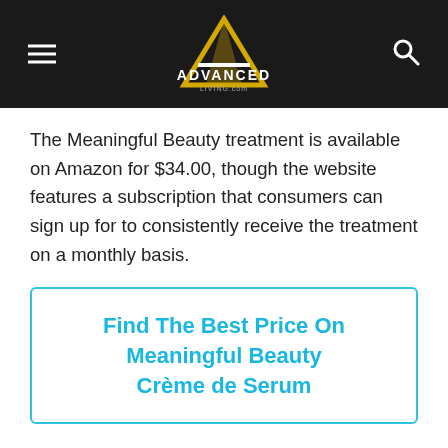Advanced Living
The Meaningful Beauty treatment is available on Amazon for $34.00, though the website features a subscription that consumers can sign up for to consistently receive the treatment on a monthly basis.
Find The Best Price On Meaningful Beauty Crème de Serum
#5 Silicium Regenerating Serum+Elixir
[Figure (photo): Product photo of Silicium Regenerating Serum+Elixir showing pink box and serum bottles on light gray background]